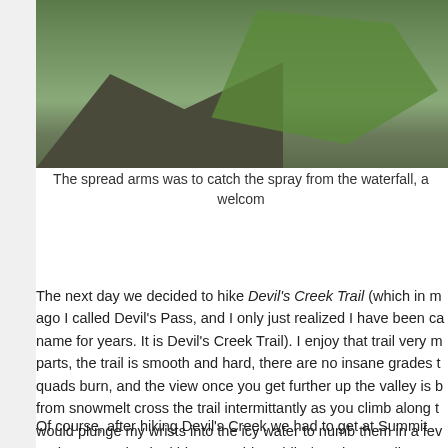[Figure (photo): Outdoor nature photo showing rocky terrain with green ferns and foliage, partially visible at top of page]
The spread arms was to catch the spray from the waterfall, a welcom
The next day we decided to hike Devil's Creek Trail (which in m ago I called Devil's Pass, and I only just realized I have been ca name for years. It is Devil's Creek Trail). I enjoy that trail very m parts, the trail is smooth and hard, there are no insane grades t quads burn, and the view once you get further up the valley is b from snowmelt cross the trail intermittantly as you climb along t would plunge my wrists into the icy water to numb them in a fev trudge onward. The kids were able to hike/run the 10 miles to t Resurrection Pass Trail, and then back in 5 hours (yes, you rea miles), while Doug and I set our sights on 2 hours out and 2 ho figure was 10 miles total. We could have done more, but that w heat was draining. That trail was relatively busy, with 3 bikers, 2 dayhikers passed during our 4 hours on the trail. Ha! What star spoiled!
Of course, after hiking Devil's Creek we had to get at Summit